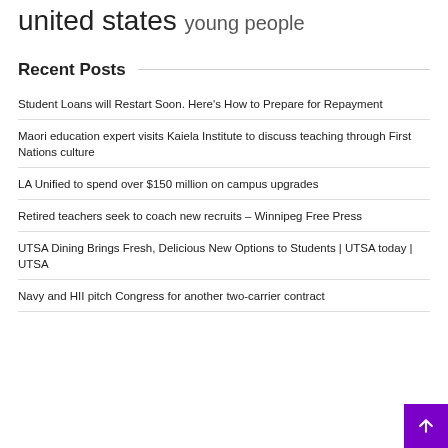united states young people
Recent Posts
Student Loans will Restart Soon. Here's How to Prepare for Repayment
Maori education expert visits Kaiela Institute to discuss teaching through First Nations culture
LA Unified to spend over $150 million on campus upgrades
Retired teachers seek to coach new recruits – Winnipeg Free Press
UTSA Dining Brings Fresh, Delicious New Options to Students | UTSA today | UTSA
Navy and HII pitch Congress for another two-carrier contract